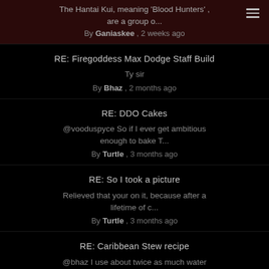The Hantai Kui, meaning 'Blood Hunters', are a group o...
By Ganiaskee , 2 weeks ago
RE: Firegoddess Max Dodge Staff Build
Ty sir
By Bhaz , 2 months ago
RE: DDO Cakes
@vooduspyce So if I ever get ambitious enough to bake T...
By Turtle , 3 months ago
RE: So I took a picture
Relieved that your on it, because after a lifetime of c...
By Turtle , 3 months ago
RE: Caribbean Stew recipe
@bhaz I use about twice as much water compared to tradi...
By Vooduspyce , 3 months ago